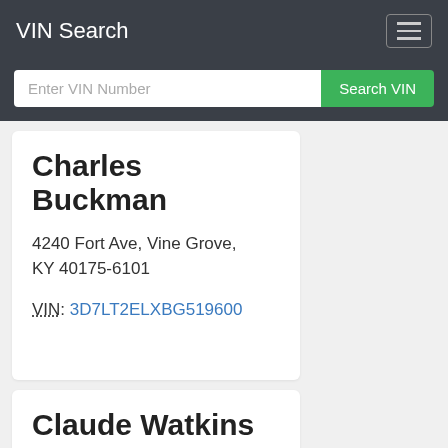VIN Search
Enter VIN Number
Search VIN
Charles Buckman
4240 Fort Ave, Vine Grove, KY 40175-6101
VIN: 3D7LT2ELXBG519600
Claude Watkins
440 Watkins Rd, London, KY 40741-9578